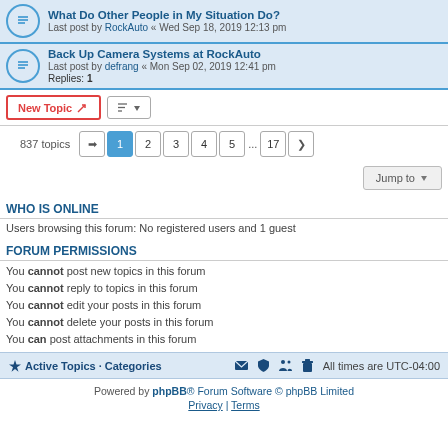What Do Other People in My Situation Do? Last post by RockAuto « Wed Sep 18, 2019 12:13 pm
Back Up Camera Systems at RockAuto Last post by defrang « Mon Sep 02, 2019 12:41 pm Replies: 1
New Topic | Sort | 837 topics | 1 2 3 4 5 ... 17 | Jump to
WHO IS ONLINE
Users browsing this forum: No registered users and 1 guest
FORUM PERMISSIONS
You cannot post new topics in this forum
You cannot reply to topics in this forum
You cannot edit your posts in this forum
You cannot delete your posts in this forum
You can post attachments in this forum
Active Topics · Categories | All times are UTC-04:00 | Powered by phpBB® Forum Software © phpBB Limited | Privacy | Terms